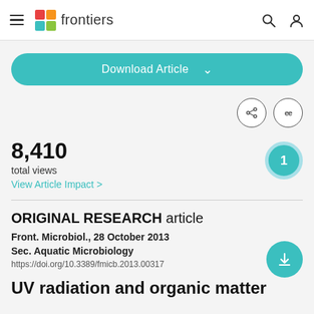frontiers
Download Article
8,410 total views
View Article Impact >
ORIGINAL RESEARCH article
Front. Microbiol., 28 October 2013
Sec. Aquatic Microbiology
https://doi.org/10.3389/fmicb.2013.00317
UV radiation and organic matter